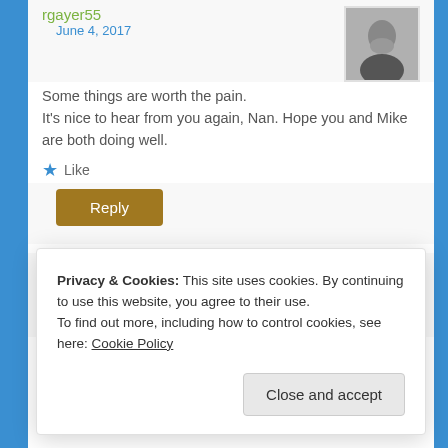rgayer55
June 4, 2017
Some things are worth the pain.
It's nice to hear from you again, Nan. Hope you and Mike are both doing well.
★ Like
Reply
subroto
Privacy & Cookies: This site uses cookies. By continuing to use this website, you agree to their use.
To find out more, including how to control cookies, see here: Cookie Policy
Close and accept